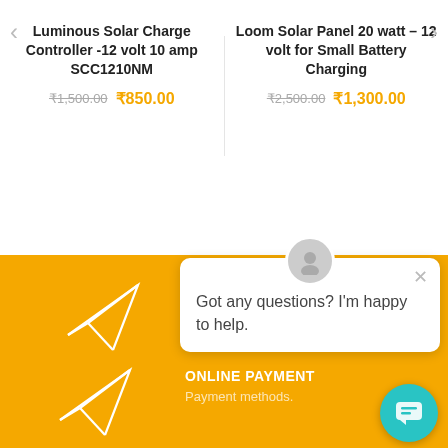Luminous Solar Charge Controller -12 volt 10 amp SCC1210NM
₹1,500.00 ₹850.00
Loom Solar Panel 20 watt – 12 volt for Small Battery Charging
₹2,500.00 ₹1,300.00
[Figure (screenshot): Chat popup with avatar icon and message: Got any questions? I'm happy to help.]
Got any questions? I'm happy to help.
ONLINE PAYMENT
Payment methods.
[Figure (illustration): Paper plane icon (outline) on yellow background, top]
[Figure (illustration): Paper plane icon (outline) on yellow background, bottom]
[Figure (illustration): Teal circular chat widget button at bottom right]